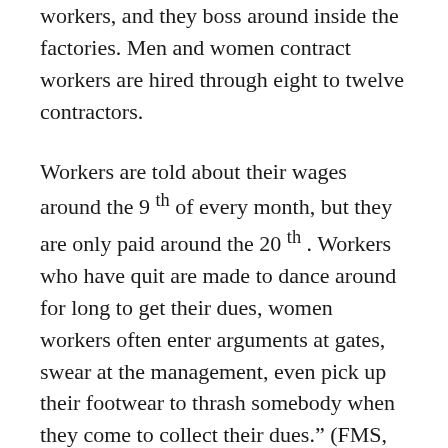workers, and they boss around inside the factories. Men and women contract workers are hired through eight to twelve contractors.
Workers are told about their wages around the 9 th of every month, but they are only paid around the 20 th . Workers who have quit are made to dance around for long to get their dues, women workers often enter arguments at gates, swear at the management, even pick up their footwear to thrash somebody when they come to collect their dues." (FMS, Mar 2014)
Clearly, new kinds of relationships are taking shape between the men and women who share factory spaces, who stop work